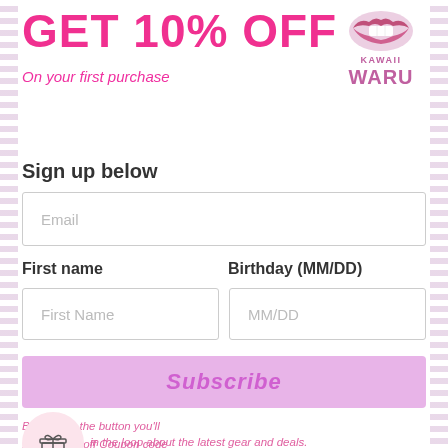GET 10% OFF
On your first purchase
[Figure (logo): Kawaii Waru brand logo with lips illustration and brand name]
Sign up below
Email (input field placeholder)
First name | Birthday (MM/DD) — input fields
Subscribe (button)
By clicking the button you'll
1) Get 10% off Coupon code
in the loop about the latest gear and deals.